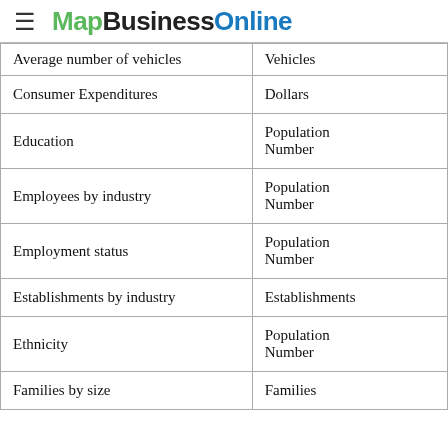MapBusinessOnline
| Category | Unit |
| --- | --- |
| Average number of vehicles | Vehicles |
| Consumer Expenditures | Dollars |
| Education | Population
Number |
| Employees by industry | Population
Number |
| Employment status | Population
Number |
| Establishments by industry | Establishments |
| Ethnicity | Population
Number |
| Families by size | Families |